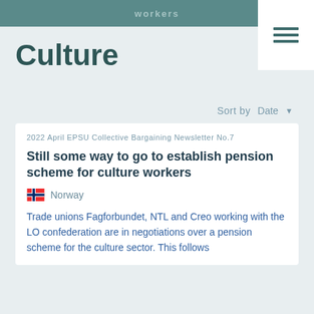workers
Culture
Sort by  Date
2022 April EPSU Collective Bargaining Newsletter No.7
Still some way to go to establish pension scheme for culture workers
Norway
Trade unions Fagforbundet, NTL and Creo working with the LO confederation are in negotiations over a pension scheme for the culture sector. This follows